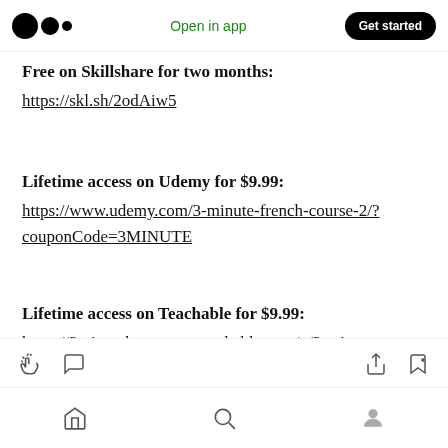Medium logo | Open in app | Get started
Free on Skillshare for two months: https://skl.sh/2odAiw5
Lifetime access on Udemy for $9.99: https://www.udemy.com/3-minute-french-course-2/?couponCode=3MINUTE
Lifetime access on Teachable for $9.99: https://3minutelanguages.teachable.com/p/3-minute-french-course-2
Action bar with clap, comment, share, bookmark icons | Bottom nav with home, search, profile icons